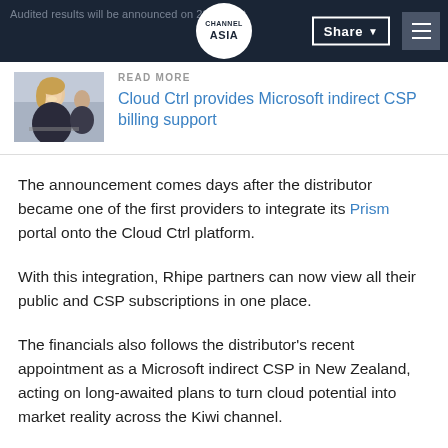CHANNEL ASIA | Audited results will be announced on 20 August
[Figure (photo): Thumbnail photo of a woman smiling, used as READ MORE article image]
READ MORE
Cloud Ctrl provides Microsoft indirect CSP billing support
The announcement comes days after the distributor became one of the first providers to integrate its Prism portal onto the Cloud Ctrl platform.
With this integration, Rhipe partners can now view all their public and CSP subscriptions in one place.
The financials also follows the distributor's recent appointment as a Microsoft indirect CSP in New Zealand, acting on long-awaited plans to turn cloud potential into market reality across the Kiwi channel.